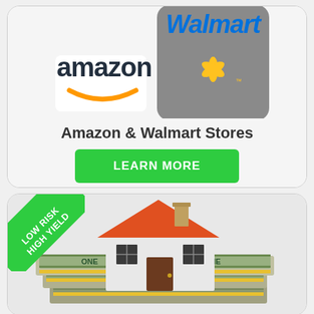[Figure (logo): Amazon and Walmart logos side by side on a grey background]
Amazon & Walmart Stores
LEARN MORE
[Figure (illustration): A house model sitting on stacks of US dollar bills, with a green 'LOW RISK HIGH YIELD' corner badge]